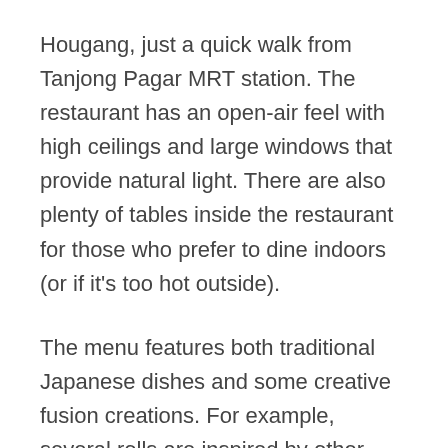Hougang, just a quick walk from Tanjong Pagar MRT station. The restaurant has an open-air feel with high ceilings and large windows that provide natural light. There are also plenty of tables inside the restaurant for those who prefer to dine indoors (or if it's too hot outside).
The menu features both traditional Japanese dishes and some creative fusion creations. For example, several rolls are inspired by other Asian cuisines such as Thailand and Vietnam—a great way to try something new without abandoning your love of sushi!